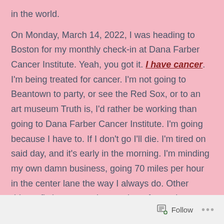in the world.
On Monday, March 14, 2022, I was heading to Boston for my monthly check-in at Dana Farber Cancer Institute. Yeah, you got it. I have cancer. I'm being treated for cancer. I'm not going to Beantown to party, or see the Red Sox, or to an art museum Truth is, I'd rather be working than going to Dana Farber Cancer Institute. I'm going because I have to. If I don't go I'll die. I'm tired on said day, and it's early in the morning. I'm minding my own damn business, going 70 miles per hour in the center lane the way I always do. Other drivers fly by me, getting nowhere faster than me. I know that. They apparently don't.
Follow ...